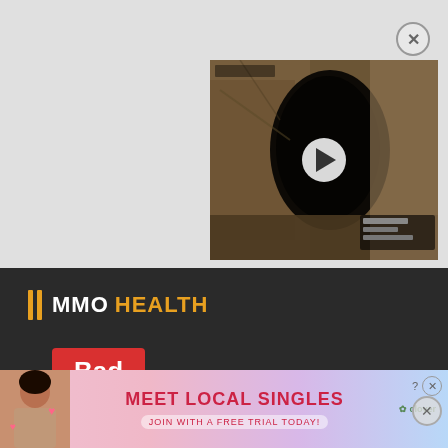[Figure (screenshot): Video thumbnail showing a dark cave entrance in a game environment (Bless Online), with a white play button circle overlay in the center]
MMO HEALTH
Bad
The popularity is of Bless Online decreasing. In the last 30 days it has decreased in player size by 0.287%.
Be careful starting Bless Online!
[Figure (screenshot): Advertisement banner at the bottom: 'MEET LOCAL SINGLES' with person photo on left and Clover app branding on right, with close button]